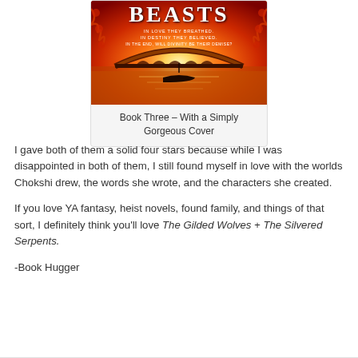[Figure (illustration): Book cover showing 'BEASTS' title in large letters on a red/orange background with a bridge and gondola scene at sunset, with decorative floral borders. Subtitle lines: 'In love they breathed. In destiny they believed. In the end, will divinity be their demise?']
Book Three – With a Simply Gorgeous Cover
I gave both of them a solid four stars because while I was disappointed in both of them, I still found myself in love with the worlds Chokshi drew, the words she wrote, and the characters she created.
If you love YA fantasy, heist novels, found family, and things of that sort, I definitely think you'll love The Gilded Wolves + The Silvered Serpents.
-Book Hugger